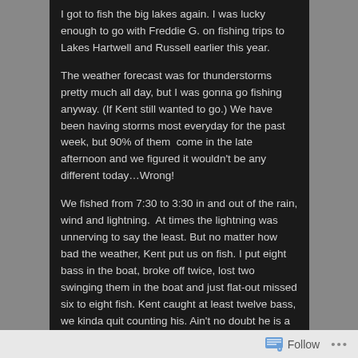I got to fish the big lakes again. I was lucky enough to go with Freddie G. on fishing trips to Lakes Hartwell and Russell earlier this year.
The weather forecast was for thunderstorms pretty much all day, but I was gonna go fishing anyway. (If Kent still wanted to go.) We have been having storms most everyday for the past week, but 90% of them come in the late afternoon and we figured it wouldn't be any different today…Wrong!
We fished from 7:30 to 3:30 in and out of the rain, wind and lightning. At times the lightning was unnerving to say the least. But no matter how bad the weather, Kent put us on fish. I put eight bass in the boat, broke off twice, lost two swinging them in the boat and just flat-out missed six to eight fish. Kent caught at least twelve bass, we kinda quit counting his. Ain't no doubt he is a good fisherman, I think he is good enough to make a living out of it with a
Follow